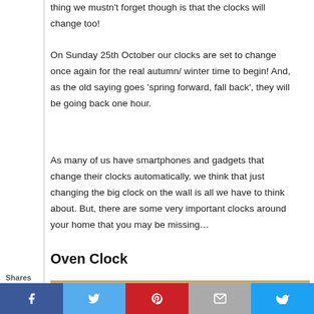thing we mustn't forget though is that the clocks will change too!
On Sunday 25th October our clocks are set to change once again for the real autumn/ winter time to begin! And, as the old saying goes 'spring forward, fall back', they will be going back one hour.
As many of us have smartphones and gadgets that change their clocks automatically, we think that just changing the big clock on the wall is all we have to think about. But, there are some very important clocks around your home that you may be missing…
Oven Clock
[Figure (photo): Close-up photo of a modern oven control panel showing a stainless steel surface with a temperature knob marked 50 and 100, a red indicator light, a circular temperature symbol, and a dark digital display panel with various control buttons and symbols.]
Shares